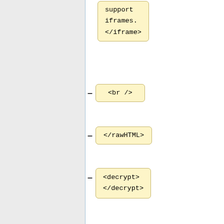[Figure (screenshot): Code block showing XML/HTML tags: 'support iframes. </iframe>' in a yellow rounded box at top]
[Figure (screenshot): Code box with minus sign and '<br />' tag]
[Figure (screenshot): Code box with minus sign and '</rawHTML>' tag]
[Figure (screenshot): Code box with minus sign and '<decrypt> </decrypt>' tags]
Latest revision as of 11:29, 15 July 2022
System administrator
Room HG03.055
☎ 52744
E-mail WPJ.Janssen@science.ru.nl